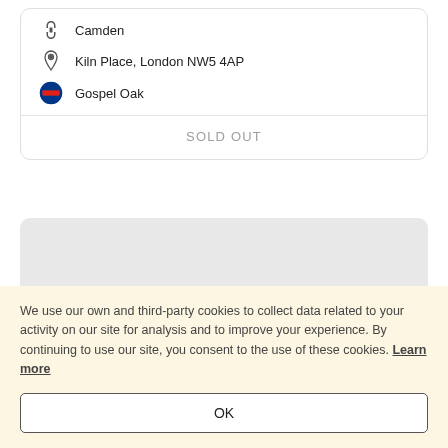Camden
Kiln Place, London NW5 4AP
Gospel Oak
SOLD OUT
[Figure (other): Gray placeholder card area]
We use our own and third-party cookies to collect data related to your activity on our site for analysis and to improve your experience. By continuing to use our site, you consent to the use of these cookies. Learn more
OK